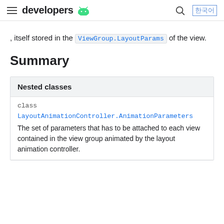developers
, itself stored in the ViewGroup.LayoutParams of the view.
Summary
| Nested classes |
| --- |
| class | LayoutAnimationController.AnimationParameters | The set of parameters that has to be attached to each view contained in the view group animated by the layout animation controller. |
The set of parameters that has to be attached to each view contained in the view group animated by the layout animation controller.